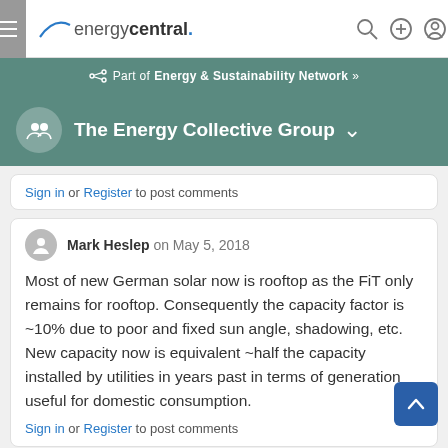energycentral.
Part of Energy & Sustainability Network »
The Energy Collective Group
Sign in or Register to post comments
Mark Heslep on May 5, 2018
Most of new German solar now is rooftop as the FiT only remains for rooftop. Consequently the capacity factor is ~10% due to poor and fixed sun angle, shadowing, etc. New capacity now is equivalent ~half the capacity installed by utilities in years past in terms of generation useful for domestic consumption.
Sign in or Register to post comments